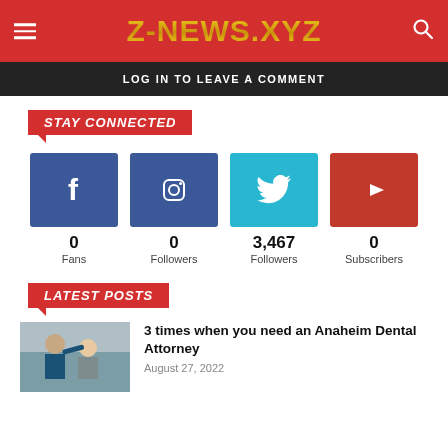Z-NEWS.XYZ
LOG IN TO LEAVE A COMMENT
STAY CONNECTED
[Figure (infographic): Social media follower counts: Facebook 0 Fans, Instagram 0 Followers, Twitter 3,467 Followers, YouTube 0 Subscribers]
LATEST POSTS
[Figure (photo): Dental office scene with doctor and patient]
3 times when you need an Anaheim Dental Attorney
August 27, 2022